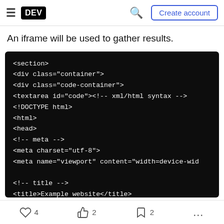DEV  Create account
An iframe will be used to gather results.
[Figure (screenshot): Dark-themed code editor screenshot showing HTML code: <section>, <div class="container">, <div class="code-container">, <textarea id="code"><!-- xml/html syntax -->, <!DOCTYPE html>, <html>, <head>, <!-- meta -->, <meta charset="utf-8">, <meta name="viewport" content="width=device-wid, <!-- title -->, <title>Example website</title>]
4   2   2   ...